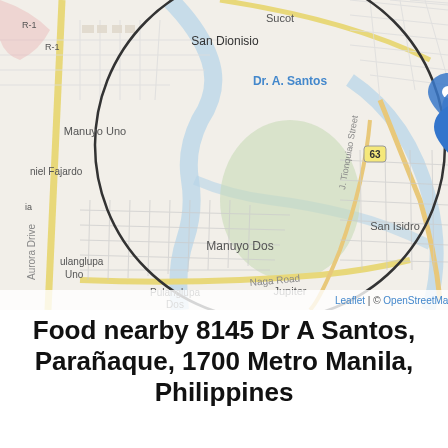[Figure (map): Interactive street map centered on Dr A Santos area in Parañaque, Metro Manila, Philippines. Shows neighborhoods including San Dionisio, Manuyo Uno, Manuyo Dos, Pulanglupa Uno, Pulanglupa Dos, San Isidro, Jupiter. A large circular boundary is drawn on the map. Three blue map marker pins are clustered near Dr A Santos street. Map attribution: Leaflet | © OpenStreetMap contributors.]
Food nearby 8145 Dr A Santos, Parañaque, 1700 Metro Manila, Philippines